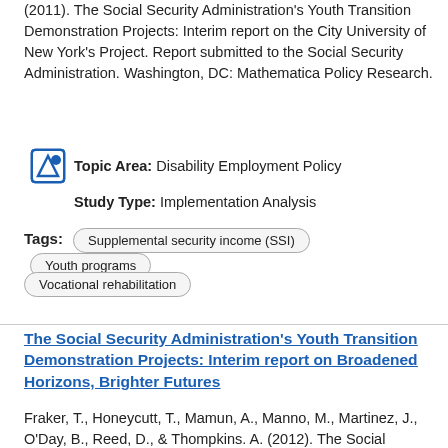(2011). The Social Security Administration's Youth Transition Demonstration Projects: Interim report on the City University of New York's Project. Report submitted to the Social Security Administration. Washington, DC: Mathematica Policy Research.
Topic Area: Disability Employment Policy
Study Type: Implementation Analysis
Tags: Supplemental security income (SSI)  Youth programs  Vocational rehabilitation
The Social Security Administration's Youth Transition Demonstration Projects: Interim report on Broadened Horizons, Brighter Futures
Fraker, T., Honeycutt, T., Mamun, A., Manno, M., Martinez, J., O'Day, B., Reed, D., & Thompkins. A. (2012). The Social Security Administration's Youth Transition Demonstration projects, the...